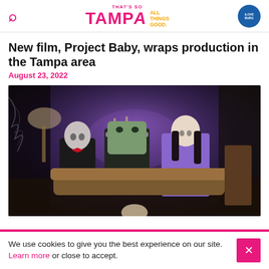That's So Tampa — All Things Good. iLoveBurg
New film, Project Baby, wraps production in the Tampa area
August 23, 2022
[Figure (photo): Three monster characters seated in a gothic room — a vampire in black suit with red bow tie, Frankenstein's monster in the center, and a woman in a purple dress on the right. Moody, atmospheric horror-movie set with candles, antique furniture, and purple lighting.]
We use cookies to give you the best experience on our site. Learn more or close to accept.